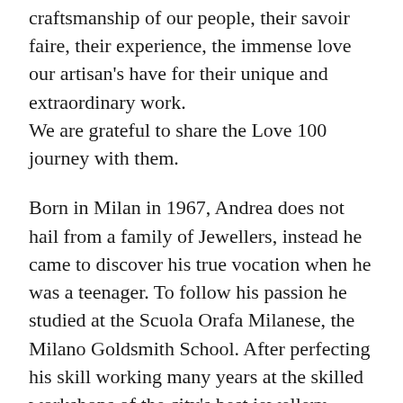craftsmanship of our people, their savoir faire, their experience, the immense love our artisan's have for their unique and extraordinary work.
We are grateful to share the Love 100 journey with them.
Born in Milan in 1967, Andrea does not hail from a family of Jewellers, instead he came to discover his true vocation when he was a teenager. To follow his passion he studied at the Scuola Orafa Milanese, the Milano Goldsmith School. After perfecting his skill working many years at the skilled workshops of the city's best jewellery makers, he started his own Laboratory in in 1998 crafting high-end and luxury pieces.
Andrea has a great passion for jewellery and a true desire to create fine jewellery with a refined...